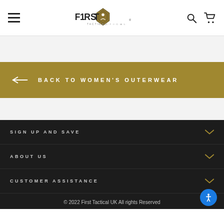F1RST TACTICAL - Navigation header with hamburger menu, logo, search and cart icons
[Figure (logo): F1RST Tactical logo with diamond shield emblem and text]
BACK TO WOMEN'S OUTERWEAR
SIGN UP AND SAVE
ABOUT US
CUSTOMER ASSISTANCE
© 2022 First Tactical UK All rights Reserved